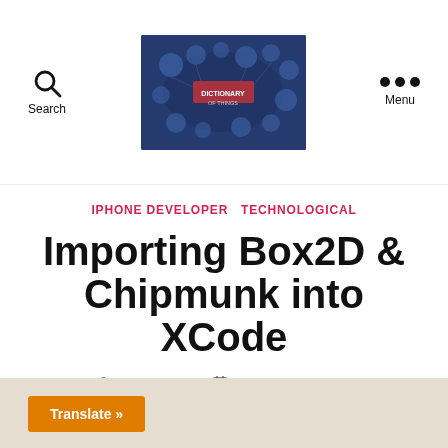Search | [logo] | Menu
IPHONE DEVELOPER  TECHNOLOGICAL
Importing Box2D & Chipmunk into XCode
By marskoko  November 15, 2011
No Comments
Translate »